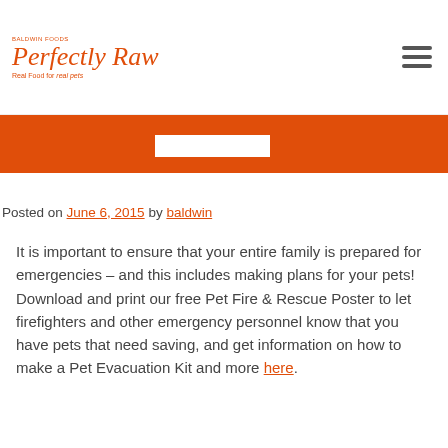BALDWIN FOODS Perfectly Raw Real Food for real pets
Posted on June 6, 2015 by baldwin
It is important to ensure that your entire family is prepared for emergencies – and this includes making plans for your pets! Download and print our free Pet Fire & Rescue Poster to let firefighters and other emergency personnel know that you have pets that need saving, and get information on how to make a Pet Evacuation Kit and more here.